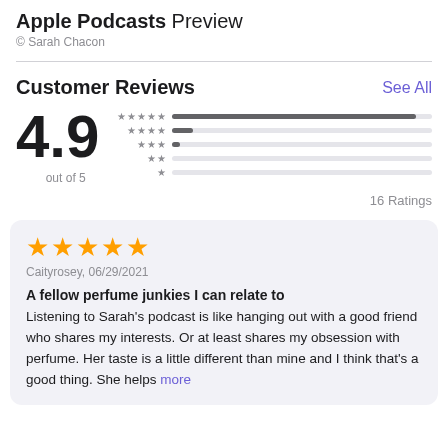Apple Podcasts Preview
© Sarah Chacon
Customer Reviews
See All
4.9
out of 5
16 Ratings
★★★★★ Caityrosey, 06/29/2021
A fellow perfume junkies I can relate to
Listening to Sarah's podcast is like hanging out with a good friend who shares my interests. Or at least shares my obsession with perfume. Her taste is a little different than mine and I think that's a good thing. She helps more